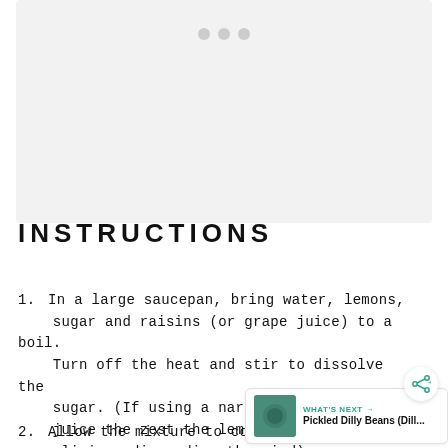[Figure (other): Gray placeholder image area with three gray dots at the top center, indicating a loading or ad placeholder region]
INSTRUCTIONS
In a large saucepan, bring water, lemons, sugar and raisins (or grape juice) to a boil. Turn off the heat and stir to dissolve the sugar. (If using a narrow neck fermenter, juice the zest the lemons instead of slicing, discarding the rind).
Allow the mixture to cool before pouring